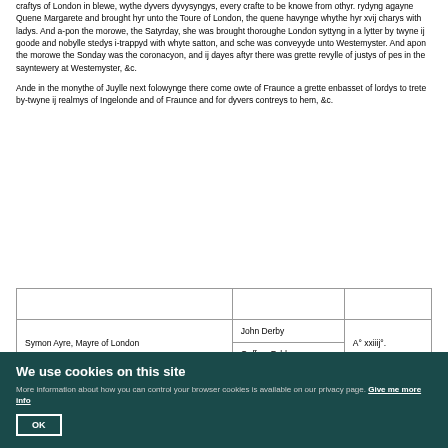craftys of London in blewe, wythe dyvers dyvysyngys, every crafte to be knowe from othyr. rydyng agayne Quene Margarete and brought hyr unto the Toure of London, the quene havynge whythe hyr xvij charys with ladys. And a-pon the morowe, the Satyrday, she was brought thoroughe London syttyng in a lytter by twyne ij goode and nobylle stedys i-trappyd with whyte satton, and sche was conveyyde unto Westemyster. And apon the morowe the Sonday was the coronacyon, and ij dayes aftyr there was grette revylle of justys of pes in the sayntewery at Westemyster, &c.
Ande in the monythe of Juylle next folowynge there come owte of Fraunce a grette enbasset of lordys to trete by-twyne ij realmys of Ingelonde and of Fraunce and for dyvers contreys to hem, &c.
|  |  |  |
| --- | --- | --- |
|  |  |  |
| Symon Ayre, Mayre of London | John Derby | A° xxiiij°. |
|  | Geffrey Fyldyng |  |
Ande in that same yere was a Parlyment holdyn at Westemyster, and same
We use cookies on this site
More information about how you can control your browser cookies is available on our privacy page. Give me more info
OK